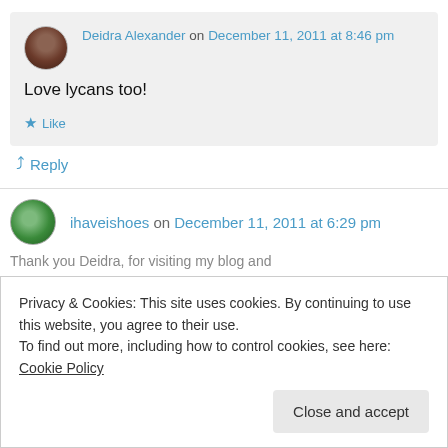Deidra Alexander on December 11, 2011 at 8:46 pm
Love lycans too!
Like
Reply
ihaveishoes on December 11, 2011 at 6:29 pm
Thank you Deidra, for visiting my blog and...
Privacy & Cookies: This site uses cookies. By continuing to use this website, you agree to their use.
To find out more, including how to control cookies, see here: Cookie Policy
Close and accept